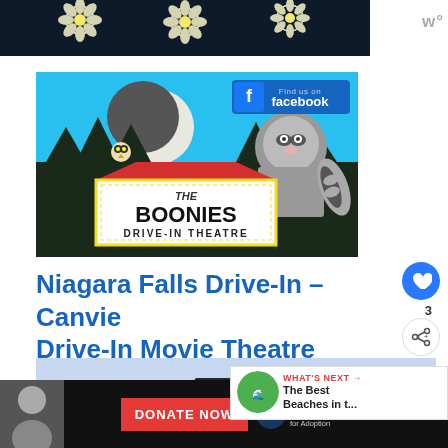[Figure (photo): Dark floral image with white daisy flowers on dark background, partial view at top of page]
[Figure (illustration): The Boonies Drive-In Theatre logo on light blue background showing raccoon character, owl, moon silhouette, trees, red marquee sign with 'THE BOONIES DRIVE-IN THEATRE' text, and Facebook 'Find us on facebook' badge in top right corner]
Niagara Falls Drive-In – Canvie Drive-In Movie Theatre
[Figure (photo): Partial view of a drive-in theatre sign or structure against light blue sky, dark geometric shape visible]
WHAT'S NEXT → The Best Beaches in t...
DONATE NOW — Dave Thomas Foundation for Adoption